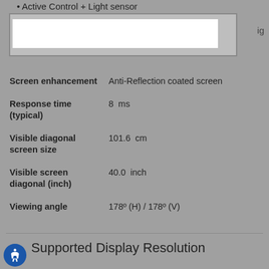• Active Control + Light sensor
[Figure (screenshot): A cropped image/screenshot with a white input box area on a gray background, partially cut off on the right side showing 'ig']
| Property | Value |
| --- | --- |
| Screen enhancement | Anti-Reflection coated screen |
| Response time (typical) | 8  ms |
| Visible diagonal screen size | 101.6  cm |
| Visible screen diagonal (inch) | 40.0  inch |
| Viewing angle | 178º (H) / 178º (V) |
Supported Display Resolution